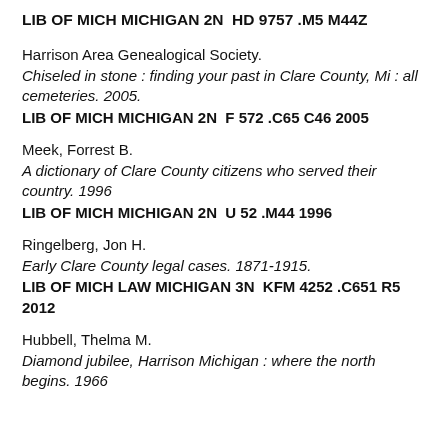LIB OF MICH MICHIGAN 2N  HD 9757 .M5 M44Z
Harrison Area Genealogical Society.
Chiseled in stone : finding your past in Clare County, Mi : all cemeteries. 2005.
LIB OF MICH MICHIGAN 2N  F 572 .C65 C46 2005
Meek, Forrest B.
A dictionary of Clare County citizens who served their country. 1996
LIB OF MICH MICHIGAN 2N  U 52 .M44 1996
Ringelberg, Jon H.
Early Clare County legal cases. 1871-1915.
LIB OF MICH LAW MICHIGAN 3N  KFM 4252 .C651 R5 2012
Hubbell, Thelma M.
Diamond jubilee, Harrison Michigan : where the north begins. 1966